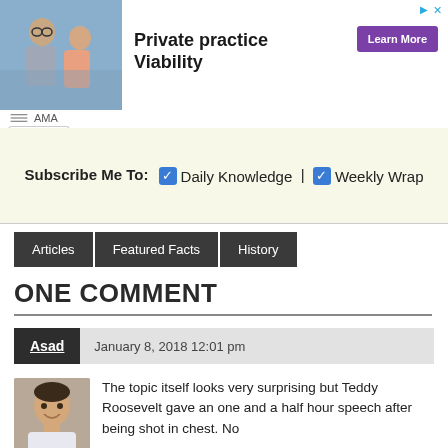[Figure (photo): Advertisement banner: photo of two people (doctor and patient) on left, bold text 'Private practice Viability' in center, purple 'Learn More' button on right, AMA logo at bottom]
Subscribe Me To: ☑ Daily Knowledge | ☑ Weekly Wrap
Articles | Featured Facts | History
ONE COMMENT
Asad   January 8, 2018 12:01 pm
The topic itself looks very surprising but Teddy Roosevelt gave an one and a half hour speech after being shot in chest. No